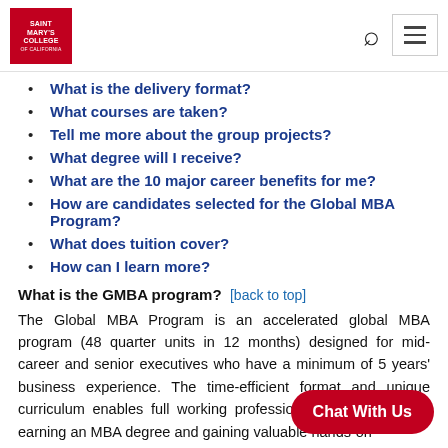Saint Mary's College of California — navigation header with logo, search, and menu
What is the delivery format?
What courses are taken?
Tell me more about the group projects?
What degree will I receive?
What are the 10 major career benefits for me?
How are candidates selected for the Global MBA Program?
What does tuition cover?
How can I learn more?
What is the GMBA program?  [back to top]
The Global MBA Program is an accelerated global MBA program (48 quarter units in 12 months) designed for mid-career and senior executives who have a minimum of 5 years' business experience. The time-efficient format and unique curriculum enables full working professionals to continue the earning an MBA degree and gaining valuable hands-on